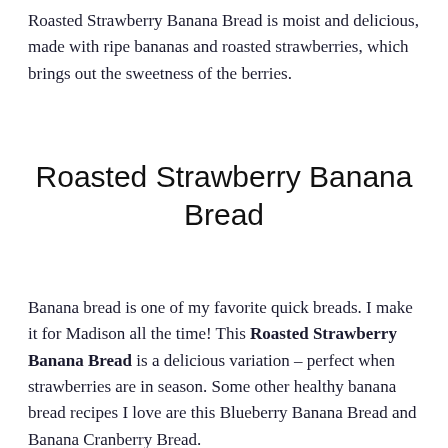Roasted Strawberry Banana Bread is moist and delicious, made with ripe bananas and roasted strawberries, which brings out the sweetness of the berries.
Roasted Strawberry Banana Bread
Banana bread is one of my favorite quick breads. I make it for Madison all the time! This Roasted Strawberry Banana Bread is a delicious variation – perfect when strawberries are in season. Some other healthy banana bread recipes I love are this Blueberry Banana Bread and Banana Cranberry Bread.